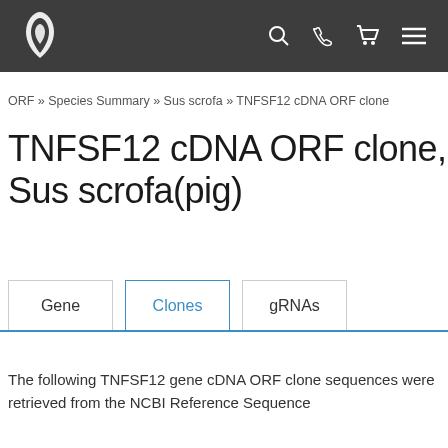OriGene logo and navigation bar
ORF » Species Summary » Sus scrofa » TNFSF12 cDNA ORF clone
TNFSF12 cDNA ORF clone, Sus scrofa(pig)
Gene | Clones | gRNAs
The following TNFSF12 gene cDNA ORF clone sequences were retrieved from the NCBI Reference Sequence